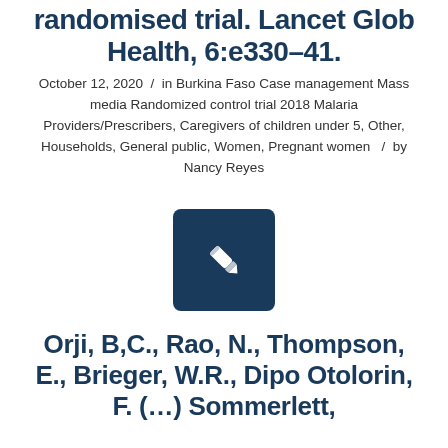randomised trial. Lancet Glob Health, 6:e330–41.
October 12, 2020 / in Burkina Faso Case management Mass media Randomized control trial 2018 Malaria Providers/Prescribers, Caregivers of children under 5, Other, Households, General public, Women, Pregnant women / by Nancy Reyes
[Figure (illustration): Dark navy blue square icon with a white pencil/edit icon in the center]
Orji, B,C., Rao, N., Thompson, E., Brieger, W.R., Dipo Otolorin, F. (…) Sommerfeld, J. (…)